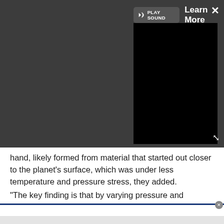[Figure (screenshot): Dark UI overlay with video player panel showing 'PLAY SOUND' button, 'Learn More' text, X close button, and a black video display area]
hand, likely formed from material that started out closer to the planet's surface, which was under less temperature and pressure stress, they added.
"The key finding is that by varying pressure and temperature on only one type of composition, we could produce the variety of material found on the planet's surface," Boujibar said.
[Figure (screenshot): Partial black video bar visible at bottom of page, with a white panel and blue border line below, and a gray strip at the very bottom]